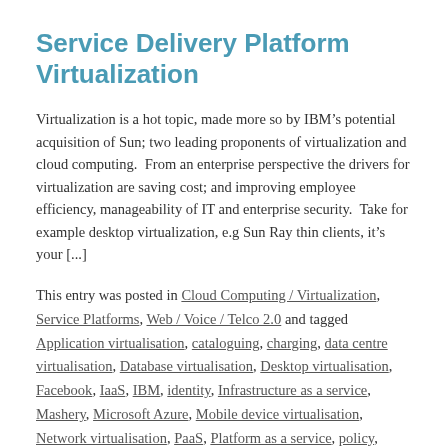Service Delivery Platform Virtualization
Virtualization is a hot topic, made more so by IBM’s potential acquisition of Sun; two leading proponents of virtualization and cloud computing.  From an enterprise perspective the drivers for virtualization are saving cost; and improving employee efficiency, manageability of IT and enterprise security.  Take for example desktop virtualization, e.g Sun Ray thin clients, it’s your [...]
This entry was posted in Cloud Computing / Virtualization, Service Platforms, Web / Voice / Telco 2.0 and tagged Application virtualisation, cataloguing, charging, data centre virtualisation, Database virtualisation, Desktop virtualisation, Facebook, IaaS, IBM, identity, Infrastructure as a service, Mashery, Microsoft Azure, Mobile device virtualisation, Network virtualisation, PaaS, Platform as a service, policy, Ribbit, SaaS, Salesforce.com, sand-box CRD, standardisation, security, Ovum, media disruption...